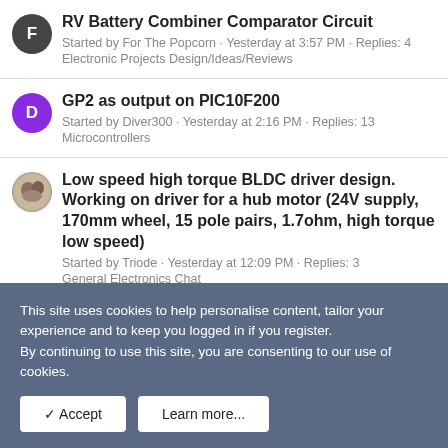RV Battery Combiner Comparator Circuit
Started by For The Popcorn · Yesterday at 3:57 PM · Replies: 4
Electronic Projects Design/Ideas/Reviews
GP2 as output on PIC10F200
Started by Diver300 · Yesterday at 2:16 PM · Replies: 13
Microcontrollers
Low speed high torque BLDC driver design. Working on driver for a hub motor (24V supply, 170mm wheel, 15 pole pairs, 1.7ohm, high torque low speed)
Started by Triode · Yesterday at 12:09 PM · Replies: 3
General Electronics Chat
Blown My Charger
This site uses cookies to help personalise content, tailor your experience and to keep you logged in if you register.
By continuing to use this site, you are consenting to our use of cookies.